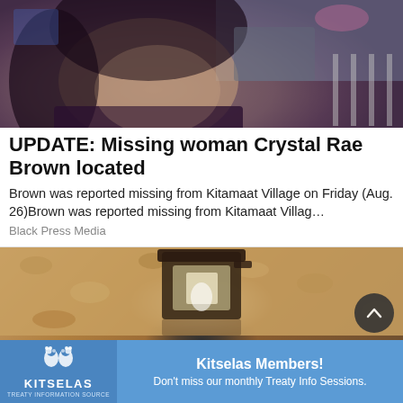[Figure (photo): Close-up photo of a woman smiling at a fairground/amusement park, with rides and people visible in the background.]
UPDATE: Missing woman Crystal Rae Brown located
Brown was reported missing from Kitamaat Village on Friday (Aug. 26)Brown was reported missing from Kitamaat Villag...
Black Press Media
[Figure (photo): Photo of a wall-mounted outdoor lamp/light fixture on a textured stone or stucco wall.]
[Figure (logo): Kitselas Treaty Information Source advertisement banner with logo on left and text on right.]